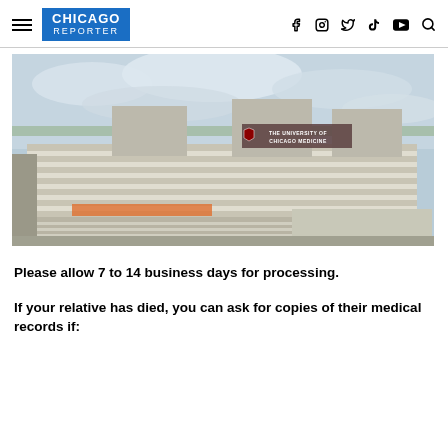CHICAGO REPORTER
[Figure (photo): Aerial view of The University of Chicago Medicine hospital building, a large multi-story modernist structure with horizontal banding, photographed from above against a cloudy sky.]
Please allow 7 to 14 business days for processing.
If your relative has died, you can ask for copies of their medical records if: